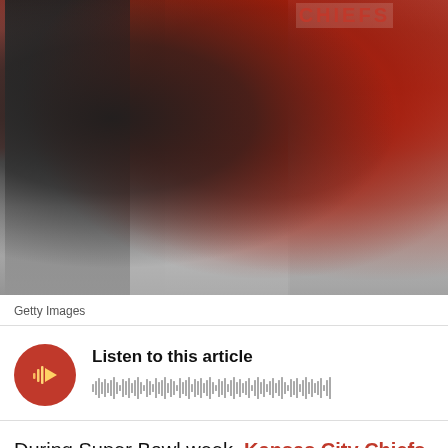[Figure (photo): Kansas City Chiefs coaches standing on the sideline during a game. A figure in black on the left holds papers, a central figure in red with headset and lanyard, and a figure in red on the right holds a device. 'CHIEFS' text visible on jersey in upper right.]
Getty Images
[Figure (other): Audio player widget with red circular play button (with waveform/play icon) and waveform visualization. Header reads 'Listen to this article'.]
During Super Bowl week, Kansas City Chiefs head coach Todd Haley announced offensive line coach Bill